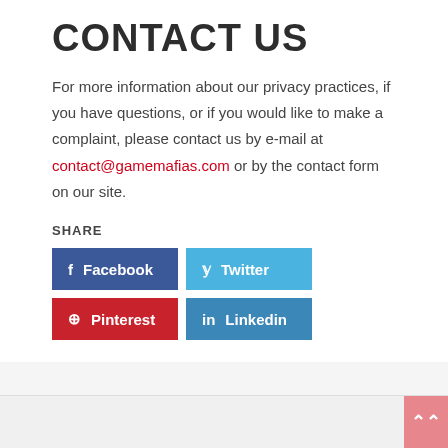CONTACT US
For more information about our privacy practices, if you have questions, or if you would like to make a complaint, please contact us by e-mail at contact@gamemafias.com or by the contact form on our site.
SHARE
Facebook
Twitter
Pinterest
Linkedin